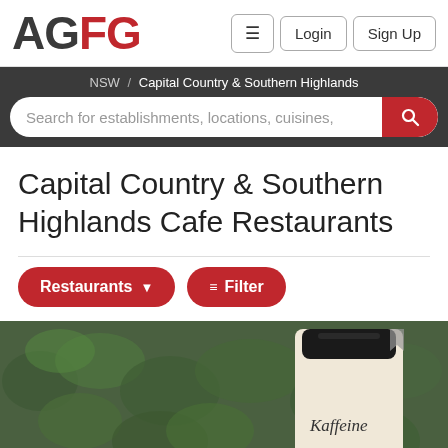[Figure (logo): AGFG logo with AG in dark grey and FG in red]
≡  Login  Sign Up
NSW / Capital Country & Southern Highlands
Search for establishments, locations, cuisines,
Capital Country & Southern Highlands Cafe Restaurants
Restaurants ▾    ≡ Filter
[Figure (photo): Photo of a Kaffeine branded takeaway coffee cup against a green hedge background]